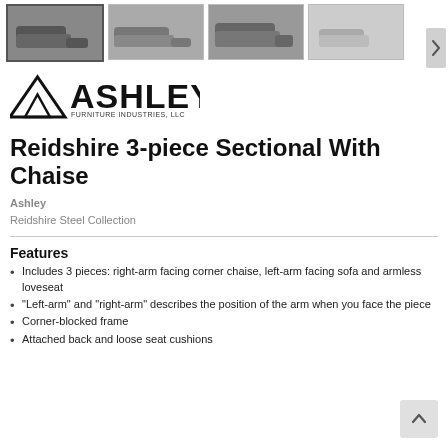[Figure (photo): Row of four product thumbnail images of a gray sectional sofa, with first image selected/highlighted]
[Figure (logo): Ashley Furniture Industries, LLC logo with mountain/triangle graphic and bold ASHLEY text]
Reidshire 3-piece Sectional With Chaise
Ashley
Reidshire Steel Collection
Features
Includes 3 pieces: right-arm facing corner chaise, left-arm facing sofa and armless loveseat
"Left-arm" and "right-arm" describes the position of the arm when you face the piece
Corner-blocked frame
Attached back and loose seat cushions